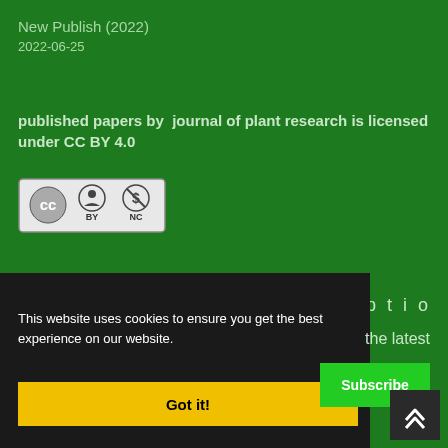New Publish (2022)
2022-06-25
published papers by  journal of plant research is licensed under CC BY 4.0
[Figure (logo): Creative Commons CC BY NC license badge showing cc, BY, and NC icons in a bordered rectangle]
Newsletter Subscription
the latest
Subscribe
This website uses cookies to ensure you get the best experience on our website.
Got it!